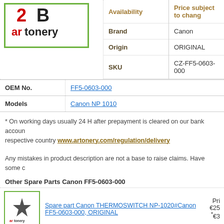[Figure (logo): AR Toner (artonery) logo with green border, red and black stylized 2B logo above artonery wordmark]
| Availability | Price subject to change |
| --- | --- |
| Brand | Canon |
| Origin | ORIGINAL |
| SKU | CZ-FF5-0603-000 |
| OEM No. | FF5-0603-000 |
| --- | --- |
| Models | Canon NP 1010 |
* On working days usually 24 H after prepayment is cleared on our bank account. respective country www.artonery.com/regulation/delivery
Any mistakes in product description are not a base to raise claims. Have some c
Other Spare Parts Canon FF5-0603-000
[Figure (logo): AR Toner (artonery) small thumbnail logo with green border]
Spare part Canon THERMOSWITCH NP-1020#Canon FF5-0603-000, ORIGINAL
Pri €25 *€3